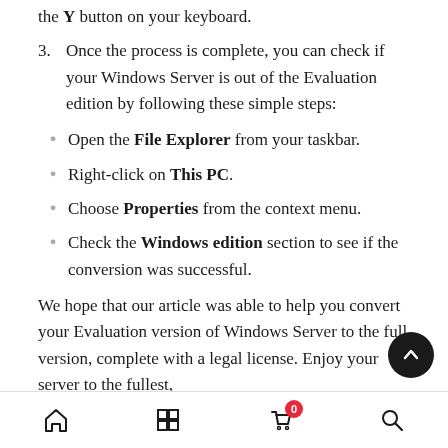the Y button on your keyboard.
3. Once the process is complete, you can check if your Windows Server is out of the Evaluation edition by following these simple steps:
Open the File Explorer from your taskbar.
Right-click on This PC.
Choose Properties from the context menu.
Check the Windows edition section to see if the conversion was successful.
We hope that our article was able to help you convert your Evaluation version of Windows Server to the full version, complete with a legal license. Enjoy your server to the fullest,